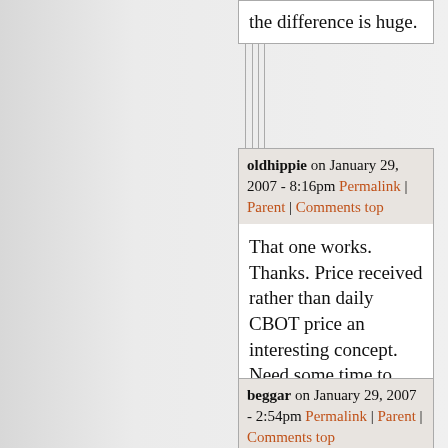the difference is huge.
oldhippie on January 29, 2007 - 8:16pm Permalink | Parent | Comments top
That one works. Thanks. Price received rather than daily CBOT price an interesting concept. Need some time to digest. Very interesting.
beggar on January 29, 2007 - 2:54pm Permalink | Parent | Comments top